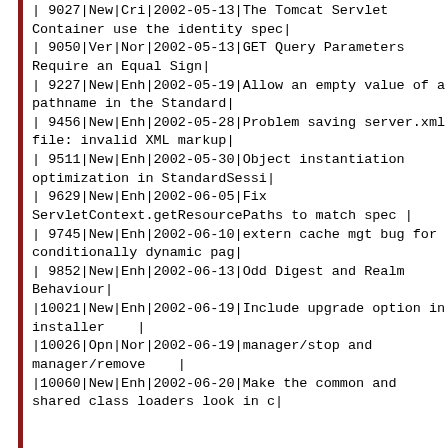| 9027|New|Cri|2002-05-13|The Tomcat Servlet Container use the identity spec|
| 9050|Ver|Nor|2002-05-13|GET Query Parameters Require an Equal Sign|
| 9227|New|Enh|2002-05-19|Allow an empty value of a pathname in the Standard|
| 9456|New|Enh|2002-05-28|Problem saving server.xml file: invalid XML markup|
| 9511|New|Enh|2002-05-30|Object instantiation optimization in StandardSessi|
| 9629|New|Enh|2002-06-05|Fix ServletContext.getResourcePaths to match spec |
| 9745|New|Enh|2002-06-10|extern cache mgt bug for conditionally dynamic pag|
| 9852|New|Enh|2002-06-13|Odd Digest and Realm Behaviour|
|10021|New|Enh|2002-06-19|Include upgrade option in installer    |
|10026|Opn|Nor|2002-06-19|manager/stop and manager/remove    |
|10060|New|Enh|2002-06-20|Make the common and shared class loaders look in c|